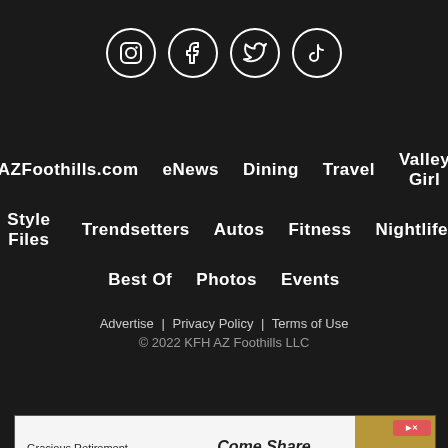[Figure (other): Social media icons row: Instagram, Facebook, Twitter/X, TikTok — white circle outlined icons on dark background]
AZFoothills.com | eNews | Dining | Travel | Valley Girl
Style Files | Trendsetters | Autos | Fitness | Nightlife
Best Of | Photos | Events
Advertise | Privacy Policy | Terms of Use
© 2022 KFH AZ Foothills LLC
[Figure (infographic): Advertisement banner: Gracious Retirement Living — Come Share Our Enthusiasm. VISIT NOW! Gold background on right panel.]